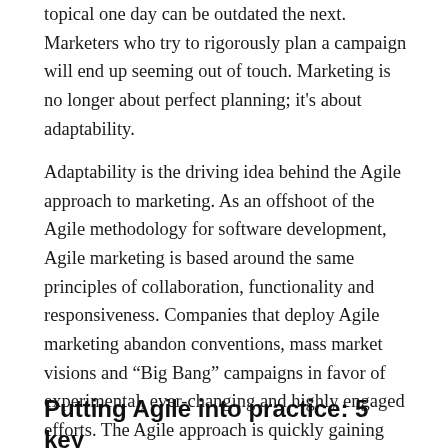topical one day can be outdated the next. Marketers who try to rigorously plan a campaign will end up seeming out of touch. Marketing is no longer about perfect planning; it's about adaptability.
Adaptability is the driving idea behind the Agile approach to marketing. As an offshoot of the Agile methodology for software development, Agile marketing is based around the same principles of collaboration, functionality and responsiveness. Companies that deploy Agile marketing abandon conventions, mass market visions and “Big Bang” campaigns in favor of experimental, ever-changing and highly engaged efforts. The Agile approach is quickly gaining traction: roughly one-third of marketers say they apply Agile methods to their marketing workload.
Putting Agile into practice: 5 key